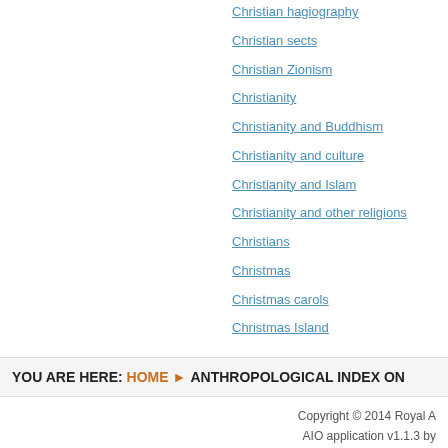Christian hagiography
Christian sects
Christian Zionism
Christianity
Christianity and Buddhism
Christianity and culture
Christianity and Islam
Christianity and other religions
Christians
Christmas
Christmas carols
Christmas Island
YOU ARE HERE: HOME ▶ ANTHROPOLOGICAL INDEX ON
Copyright © 2014 Royal A
AIO application v1.1.3 by